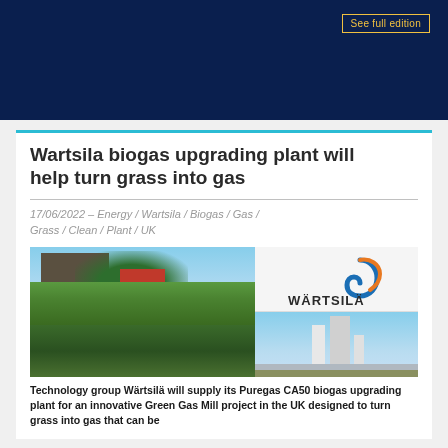[Figure (other): Dark blue banner header with 'See full edition' button in gold/yellow border]
Wartsila biogas upgrading plant will help turn grass into gas
17/06/2022 – Energy / Wartsila / Biogas / Gas / Grass / Clean / Plant / UK
[Figure (photo): Left: photo of grass silage pile with industrial buildings and trees in background. Top right: Wärtsilä logo on white background. Bottom right: photo of industrial biogas plant with chimneys against blue sky.]
Technology group Wärtsilä will supply its Puregas CA50 biogas upgrading plant for an innovative Green Gas Mill project in the UK designed to turn grass into gas that can be